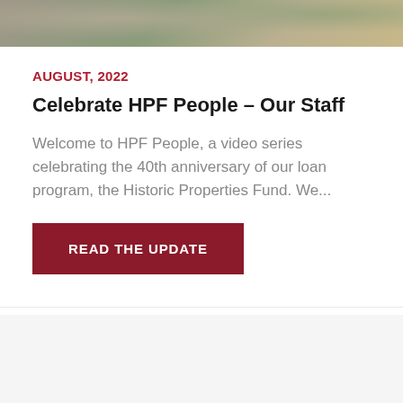[Figure (photo): Partial photo strip at top of page showing an outdoor scene with foliage and a path, cropped to a narrow horizontal band]
AUGUST, 2022
Celebrate HPF People – Our Staff
Welcome to HPF People, a video series celebrating the 40th anniversary of our loan program, the Historic Properties Fund. We...
READ THE UPDATE